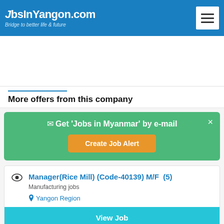JobsInYangon.com – Bridge to better life & future
[Figure (other): Advertisement space (blank white area)]
More offers from this company
✉ Get 'Jobs in Myanmar' by e-mail  ×  Create Job Alert
Manager(Rice Mill) (Code-40139) M/F (5)
Manufacturing jobs
Yangon Region
View Job